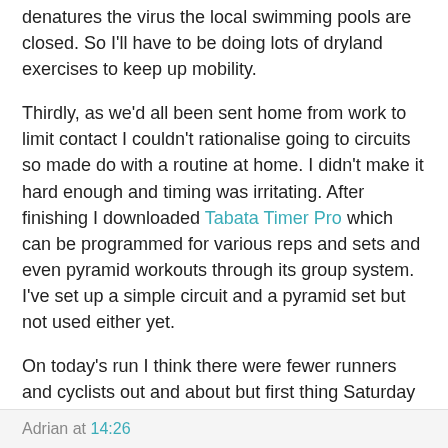…though it's generally agreed that chlorinated pool water denatures the virus the local swimming pools are closed. So I'll have to be doing lots of dryland exercises to keep up mobility.
Thirdly, as we'd all been sent home from work to limit contact I couldn't rationalise going to circuits so made do with a routine at home. I didn't make it hard enough and timing was irritating. After finishing I downloaded Tabata Timer Pro which can be programmed for various reps and sets and even pyramid workouts through its group system. I've set up a simple circuit and a pyramid set but not used either yet.
On today's run I think there were fewer runners and cyclists out and about but first thing Saturday is never especially busy. We may go for a walk tomorrow but I will have to keep my mind on a run too so I can work towards the weekly total.
Incidentally, I have signed up for the University's Big Walk but I half expect it to be cancelled.
Adrian at 14:26